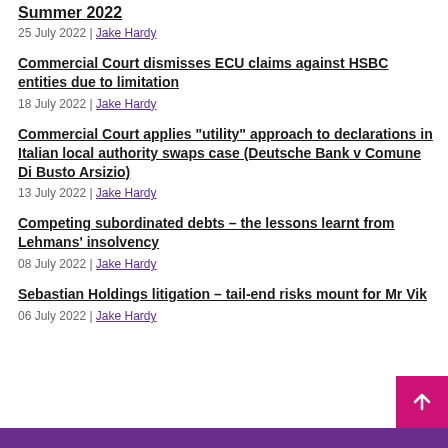Summer 2022
25 July 2022 | Jake Hardy
Commercial Court dismisses ECU claims against HSBC entities due to limitation
18 July 2022 | Jake Hardy
Commercial Court applies "utility" approach to declarations in Italian local authority swaps case (Deutsche Bank v Comune Di Busto Arsizio)
13 July 2022 | Jake Hardy
Competing subordinated debts – the lessons learnt from Lehmans' insolvency
08 July 2022 | Jake Hardy
Sebastian Holdings litigation – tail-end risks mount for Mr Vik
06 July 2022 | Jake Hardy